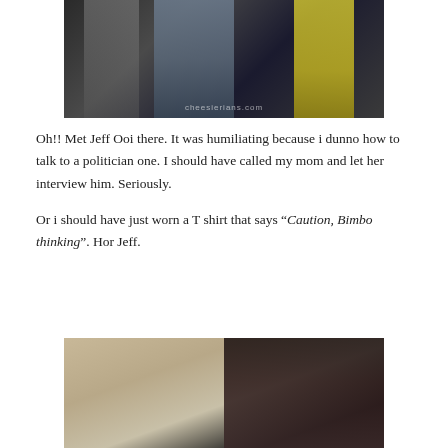[Figure (photo): Photo of two people (man in gray suit and woman in yellow dress with designer handbag) at an event, with watermark 'cheesierians.com']
Oh!! Met Jeff Ooi there. It was humiliating because i dunno how to talk to a politician one. I should have called my mom and let her interview him. Seriously.
Or i should have just worn a T shirt that says “Caution, Bimbo thinking”. Hor Jeff.
[Figure (photo): Close-up photo of a young woman in what appears to be a bathroom or dressing room setting]